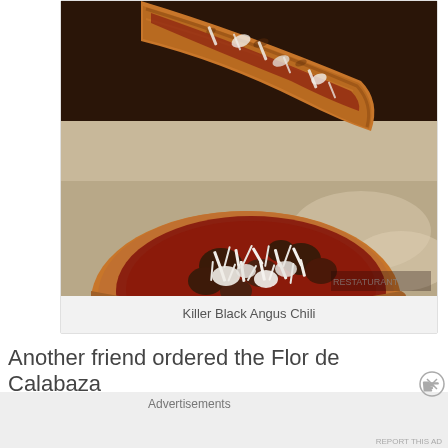[Figure (photo): Close-up photo of a flatbread or pide topped with shredded cheese, chunky meat pieces and red chili sauce, served on a white plate on a light surface]
Killer Black Angus Chili
Another friend ordered the Flor de Calabaza
Advertisements